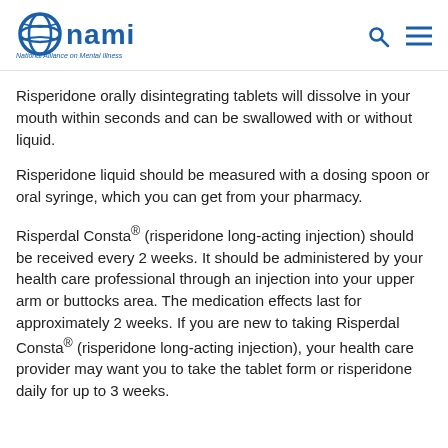NAMI - National Alliance on Mental Illness
Risperidone orally disintegrating tablets will dissolve in your mouth within seconds and can be swallowed with or without liquid.
Risperidone liquid should be measured with a dosing spoon or oral syringe, which you can get from your pharmacy.
Risperdal Consta® (risperidone long-acting injection) should be received every 2 weeks. It should be administered by your health care professional through an injection into your upper arm or buttocks area. The medication effects last for approximately 2 weeks. If you are new to taking Risperdal Consta® (risperidone long-acting injection), your health care provider may want you to take the tablet form or risperidone daily for up to 3 weeks.